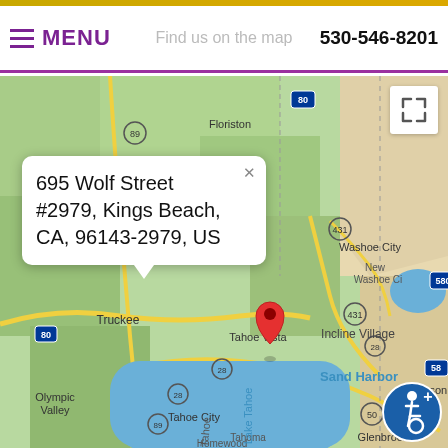MENU   Find us on the map   530-546-8201
[Figure (map): Google Maps screenshot showing the Lake Tahoe area in California/Nevada. A red location pin is placed near Kings Beach/Tahoe Vista on the north shore of Lake Tahoe. Visible locations include Carpenter Valley, Truckee, Boca, Floriston, Tahoe Vista, Incline Village, Washoe City, New Washoe City, Olympic Valley, Tahoe City, Sand Harbor, Homewood, Tahoma, Glenbrook, Carson City. Roads include I-80, US-89, CA-431, CA-28, US-50, I-580. Lake Tahoe is shown in blue in the lower portion. A popup bubble shows the address: 695 Wolf Street #2979, Kings Beach, CA, 96143-2979, US.]
695 Wolf Street #2979, Kings Beach, CA, 96143-2979, US